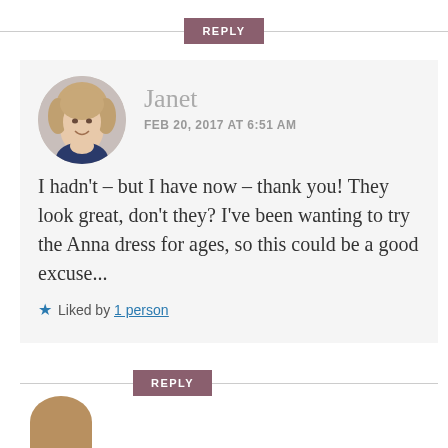REPLY
[Figure (photo): Circular avatar photo of Janet, a woman with curly blonde/light brown hair, smiling, wearing a dark blue top]
Janet
FEB 20, 2017 AT 6:51 AM
I hadn't – but I have now – thank you! They look great, don't they? I've been wanting to try the Anna dress for ages, so this could be a good excuse...
Liked by 1 person
REPLY